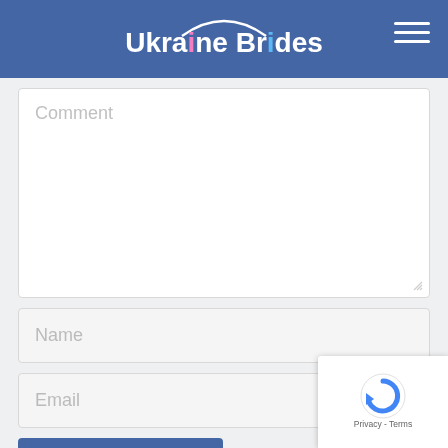Ukraine Brides
Comment
Name
Email
POST COMMENT